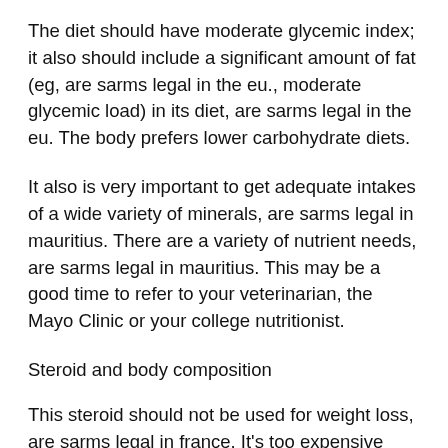The diet should have moderate glycemic index; it also should include a significant amount of fat (eg, are sarms legal in the eu., moderate glycemic load) in its diet, are sarms legal in the eu. The body prefers lower carbohydrate diets.
It also is very important to get adequate intakes of a wide variety of minerals, are sarms legal in mauritius. There are a variety of nutrient needs, are sarms legal in mauritius. This may be a good time to refer to your veterinarian, the Mayo Clinic or your college nutritionist.
Steroid and body composition
This steroid should not be used for weight loss, are sarms legal in france. It's too expensive and not worth the hassle and trouble involved. An athlete needs to be